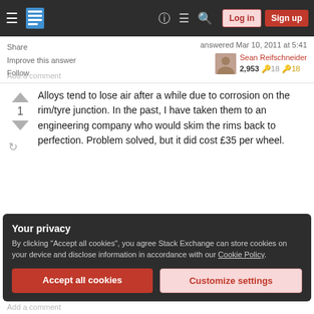Stack Exchange navigation bar with hamburger menu, logo, help, chat, search icons, Log in and Sign up buttons
Share
Improve this answer
Follow
Add a comment
answered Mar 10, 2011 at 5:41
Sean Reifschneider
2,953 🔧18 🔑18
Alloys tend to lose air after a while due to corrosion on the rim/tyre junction. In the past, I have taken them to an engineering company who would skim the rims back to perfection. Problem solved, but it did cost £35 per wheel.
Your privacy
By clicking "Accept all cookies", you agree Stack Exchange can store cookies on your device and disclose information in accordance with our Cookie Policy.
Accept all cookies
Customize settings